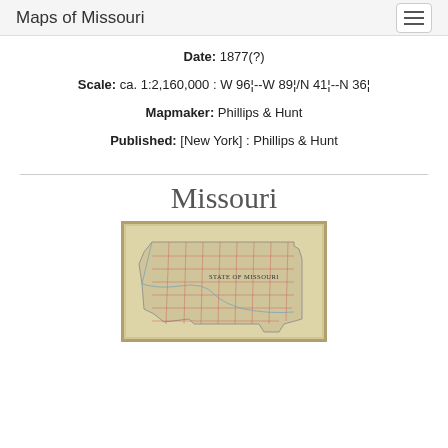Maps of Missouri
Date: 1877(?)
Scale: ca. 1:2,160,000 : W 96¦--W 89¦/N 41¦--N 36¦
Mapmaker: Phillips & Hunt
Published: [New York] : Phillips & Hunt
Missouri
[Figure (map): Antique county map of the State of Missouri, showing county grid lines in red, with label 'STATE OF MISSOURI' visible in the upper right area of the map.]